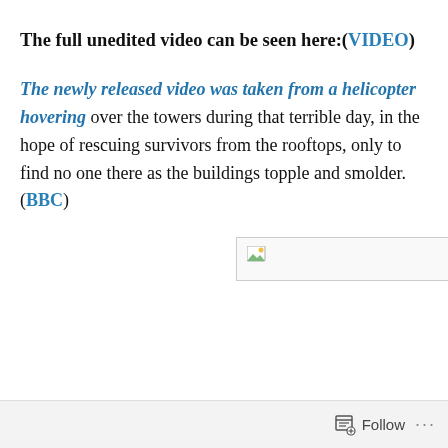The full unedited video can be seen here:(VIDEO)
The newly released video was taken from a helicopter hovering over the towers during that terrible day, in the hope of rescuing survivors from the rooftops, only to find no one there as the buildings topple and smolder.(BBC)
[Figure (other): Broken/missing image placeholder — a small rectangle with a broken image icon in the upper-left corner and a grey border]
Follow ···